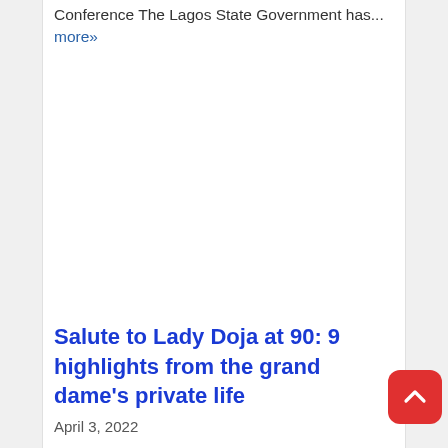Conference The Lagos State Government has... more»
Salute to Lady Doja at 90: 9 highlights from the grand dame's private life
April 3, 2022